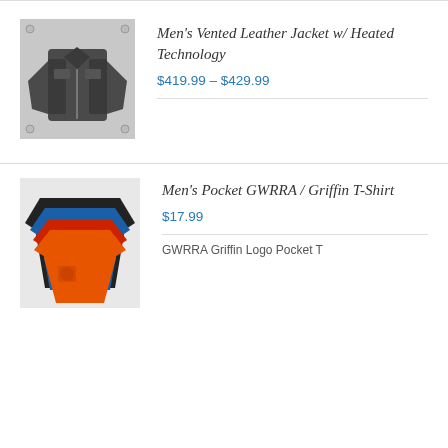[Figure (photo): Dark leather motorcycle jacket product photo on grey background]
Men's Vented Leather Jacket w/ Heated Technology
$419.99 – $429.99
[Figure (photo): Multiple t-shirts in orange, red, blue, and black colors stacked/overlapping]
Men's Pocket GWRRA / Griffin T-Shirt
$17.99
GWRRA Griffin Logo Pocket T